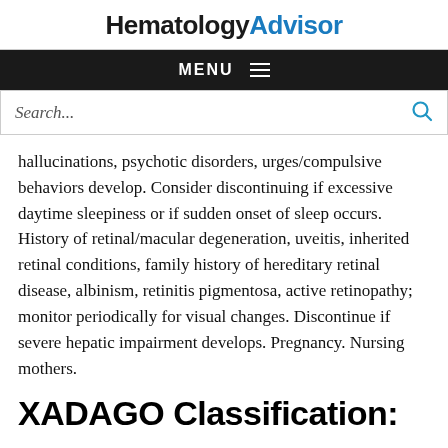HematologyAdvisor
MENU ☰
Search...
hallucinations, psychotic disorders, urges/compulsive behaviors develop. Consider discontinuing if excessive daytime sleepiness or if sudden onset of sleep occurs. History of retinal/macular degeneration, uveitis, inherited retinal conditions, family history of hereditary retinal disease, albinism, retinitis pigmentosa, active retinopathy; monitor periodically for visual changes. Discontinue if severe hepatic impairment develops. Pregnancy. Nursing mothers.
XADAGO Classification:
MAO-B inhibitor.